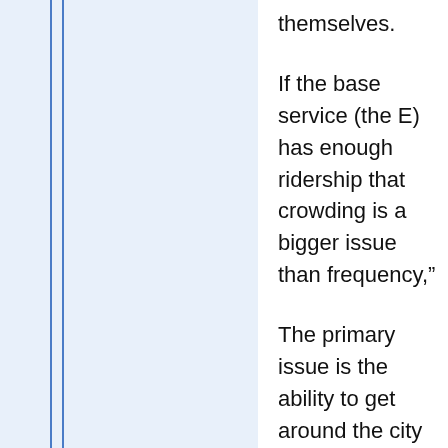themselves.
If the base service (the E) has enough ridership that crowding is a bigger issue than frequency,"
The primary issue is the ability to get around the city and region in a reasonable travel time and wait time. 45th, 85th, 105th, 130th, 185th, and Aurora Village have concentrations of transfers, retail, and/or apartments, so there should be a way to get quickly between those. Especially since three out of four are major transfer points and we're trying to get the fourth to be so too. This shouldn't be subjugated to